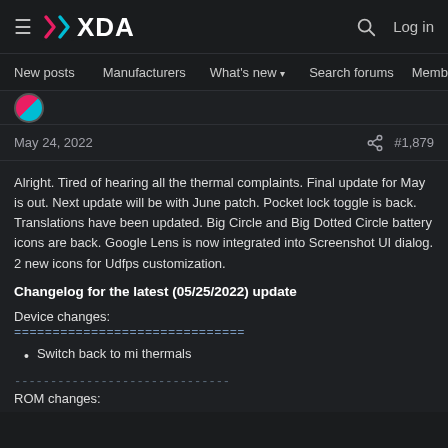☰ [XDA logo] 🔍 Log in
New posts  Manufacturers  What's new ▾  Search forums  Membe  >
May 24, 2022   < share   #1,879
Alright. Tired of hearing all the thermal complaints. Final update for May is out. Next update will be with June patch. Pocket lock toggle is back. Translations have been updated. Big Circle and Big Dotted Circle battery icons are back. Google Lens is now integrated into Screenshot UI dialog. 2 new icons for Udfps customization.
Changelog for the latest (05/25/2022) update
Device changes:
==============================
Switch back to mi thermals
------------------------------
ROM changes: